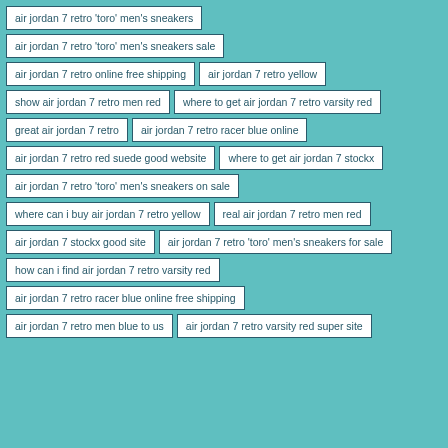air jordan 7 retro 'toro' men's sneakers
air jordan 7 retro 'toro' men's sneakers sale
air jordan 7 retro online free shipping
air jordan 7 retro yellow
show air jordan 7 retro men red
where to get air jordan 7 retro varsity red
great air jordan 7 retro
air jordan 7 retro racer blue online
air jordan 7 retro red suede good website
where to get air jordan 7 stockx
air jordan 7 retro 'toro' men's sneakers on sale
where can i buy air jordan 7 retro yellow
real air jordan 7 retro men red
air jordan 7 stockx good site
air jordan 7 retro 'toro' men's sneakers for sale
how can i find air jordan 7 retro varsity red
air jordan 7 retro racer blue online free shipping
air jordan 7 retro men blue to us
air jordan 7 retro varsity red super site